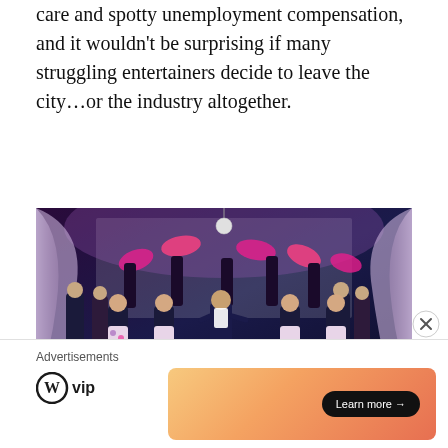care and spotty unemployment compensation, and it wouldn't be surprising if many struggling entertainers decide to leave the city…or the industry altogether.
[Figure (photo): Stage performance photo showing a man in a dark suit with arms outstretched at center stage, surrounded by dancers in formal attire and showgirls holding pink feathered fans, against a glittering backdrop with purple lighting.]
Advertisements
[Figure (logo): WordPress VIP logo with circular W icon and 'vip' text]
[Figure (other): Advertisement banner with orange/peach gradient and 'Learn more →' button]